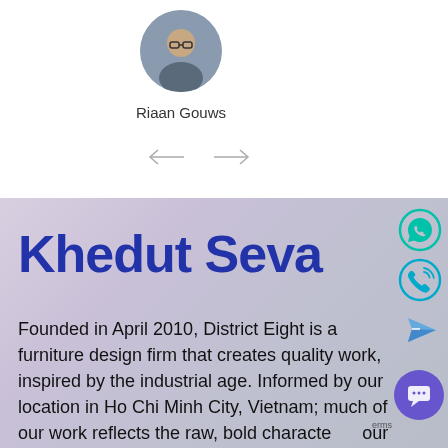[Figure (photo): Circular avatar photo of a man with glasses]
Riaan Gouws
[Figure (other): Left and right navigation arrows]
Khedut Seva
Founded in April 2010, District Eight is a furniture design firm that creates quality work, inspired by the industrial age. Informed by our location in Ho Chi Minh City, Vietnam; much of our work reflects the raw, bold character of our surroundings. We pride ourselves on creating handcrafted furnishings that